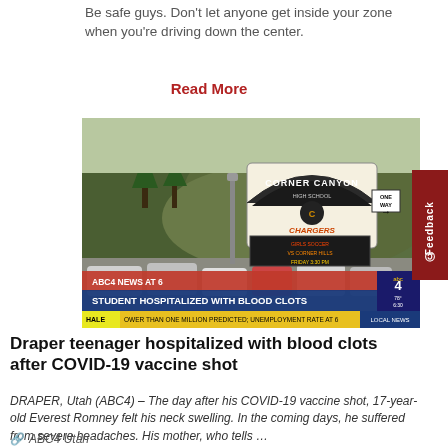Be safe guys. Don't let anyone get inside your zone when you're driving down the center.
Read More
[Figure (screenshot): ABC4 News screenshot showing Corner Canyon High School sign with chyron: STUDENT HOSPITALIZED WITH BLOOD CLOTS]
Draper teenager hospitalized with blood clots after COVID-19 vaccine shot
DRAPER, Utah (ABC4) – The day after his COVID-19 vaccine shot, 17-year-old Everest Romney felt his neck swelling. In the coming days, he suffered from severe headaches. His mother, who tells …
ABC4 Utah